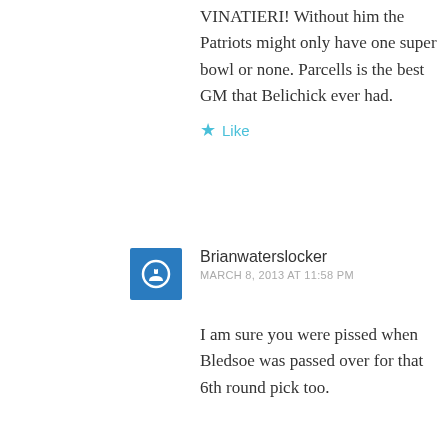VINATIERI! Without him the Patriots might only have one super bowl or none. Parcells is the best GM that Belichick ever had.
★ Like
Brianwaterslocker
MARCH 8, 2013 AT 11:58 PM
I am sure you were pissed when Bledsoe was passed over for that 6th round pick too.